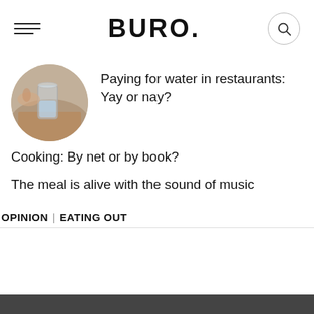BURO.
[Figure (photo): Circular thumbnail photo of a glass of water on a wooden surface, with a hand visible in the background]
Paying for water in restaurants: Yay or nay?
Cooking: By net or by book?
The meal is alive with the sound of music
OPINION | EATING OUT